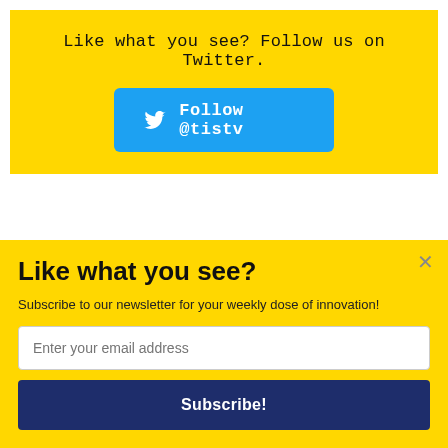Like what you see? Follow us on Twitter.
[Figure (other): Blue Twitter follow button with bird icon and text 'Follow @tistv']
30.
[Figure (logo): SUMO badge with crown icon]
Like what you see?
Subscribe to our newsletter for your weekly dose of innovation!
Enter your email address
Subscribe!